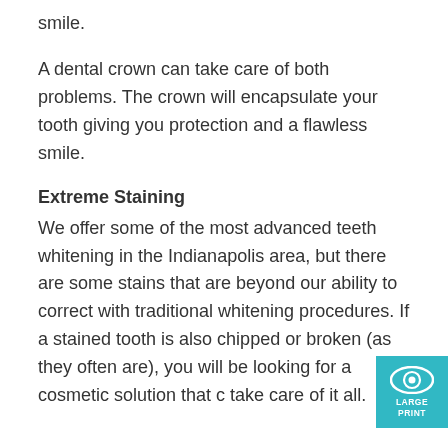smile.
A dental crown can take care of both problems. The crown will encapsulate your tooth giving you protection and a flawless smile.
Extreme Staining
We offer some of the most advanced teeth whitening in the Indianapolis area, but there are some stains that are beyond our ability to correct with traditional whitening procedures. If a stained tooth is also chipped or broken (as they often are), you will be looking for a cosmetic solution that can take care of it all.
[Figure (logo): Teal square badge with an eye icon and text LARGE PRINT]